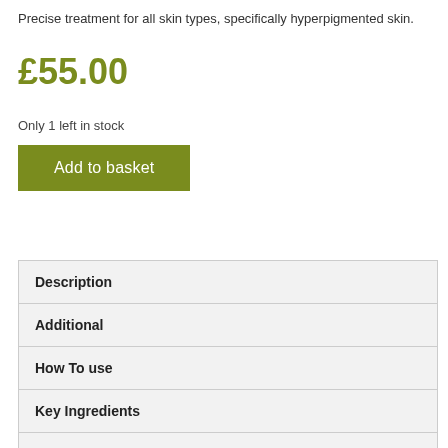Precise treatment for all skin types, specifically hyperpigmented skin.
£55.00
Only 1 left in stock
Add to basket
Description
Additional
How To use
Key Ingredients
Results